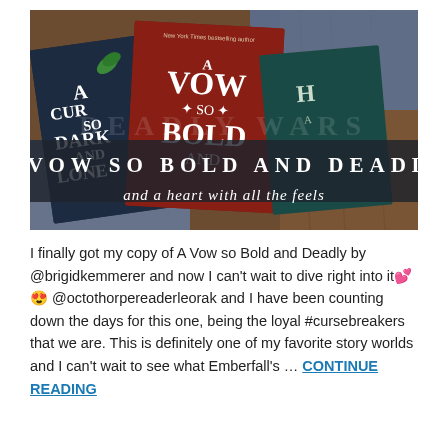[Figure (photo): Photo of several books including 'A Curse So Dark and Lonely', 'A Vow So Bold and Deadly', and another book with teal cover, arranged on a wooden surface with a patterned cloth. Overlaid text reads 'A VOW SO BOLD AND DEADLY' in large white serif caps, and 'and a heart with all the feels' in cursive script, with a dark semi-transparent banner.]
I finally got my copy of A Vow so Bold and Deadly by @brigidkemmerer and now I can't wait to dive right into it💕😍 @octothorpereaderleorak and I have been counting down the days for this one, being the loyal #cursebreakers that we are. This is definitely one of my favorite story worlds and I can't wait to see what Emberfall's ... CONTINUE READING